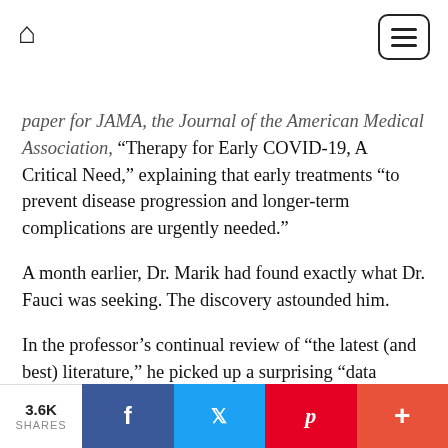Home icon and hamburger menu
paper for JAMA, the Journal of the American Medical Association, “Therapy for Early COVID-19, A Critical Need,” explaining that early treatments “to prevent disease progression and longer-term complications are urgently needed.”
A month earlier, Dr. Marik had found exactly what Dr. Fauci was seeking. The discovery astounded him.
In the professor’s continual review of “the latest (and best) literature,” he picked up a surprising “data signal” in October from emerging studies in Latin America. Ivermectin, a safe, cheap, FDA-
3.6K SHARES | Facebook | Twitter | Pinterest | More